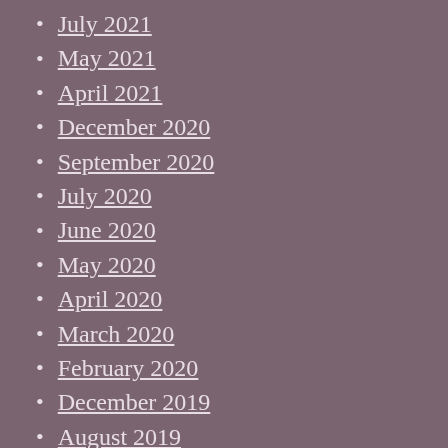July 2021
May 2021
April 2021
December 2020
September 2020
July 2020
June 2020
May 2020
April 2020
March 2020
February 2020
December 2019
August 2019
April 2019
March 2019
February 2019